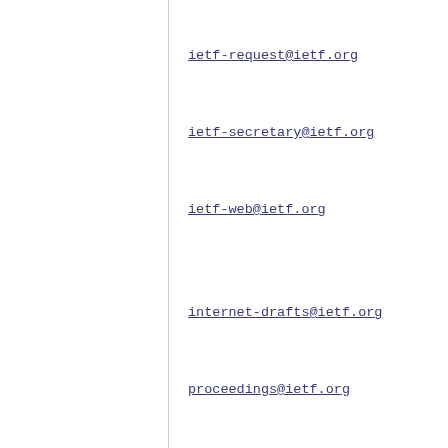ietf-request@ietf.org
ietf-secretary@ietf.org
ietf-web@ietf.org
internet-drafts@ietf.org
proceedings@ietf.org
iana@iana.org
rfc-editor@rfc-editor.org
statements@ietf.org